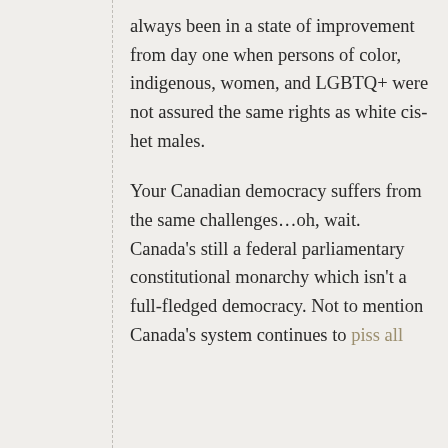always been in a state of improvement from day one when persons of color, indigenous, women, and LGBTQ+ were not assured the same rights as white cis-het males.
Your Canadian democracy suffers from the same challenges…oh, wait. Canada's still a federal parliamentary constitutional monarchy which isn't a full-fledged democracy. Not to mention Canada's system continues to piss all